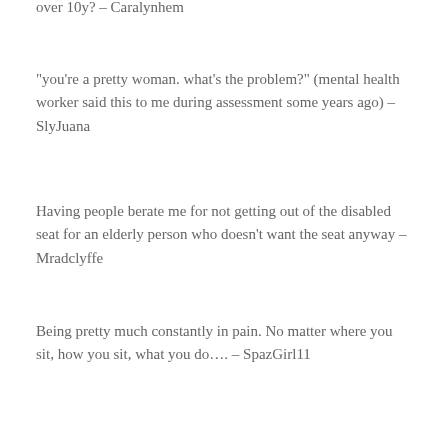over 10y? – Caralynhem
“you’re a pretty woman. what’s the problem?” (mental health worker said this to me during assessment some years ago) – SlyJuana
Having people berate me for not getting out of the disabled seat for an elderly person who doesn’t want the seat anyway – Mradclyffe
Being pretty much constantly in pain. No matter where you sit, how you sit, what you do…. – SpazGirl11